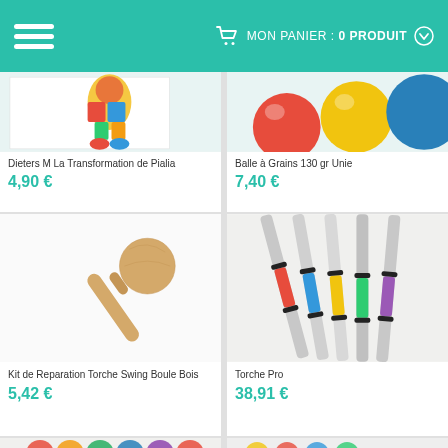MON PANIER : 0 PRODUIT
[Figure (photo): Partial view of colorful clown/puppet toy product image (Dieters M La Transformation de Pialia)]
Dieters M La Transformation de Pialia
4,90 €
[Figure (photo): Partial view of colored balls - red, yellow, blue (Balle à Grains 130 gr Unie)]
Balle à Grains 130 gr Unie
7,40 €
[Figure (photo): Wooden ball-on-stick / mallet toy (Kit de Reparation Torche Swing Boule Bois)]
Kit de Reparation Torche Swing Boule Bois
5,42 €
[Figure (photo): Multiple metallic spinning/juggling torches with colored handles - red, blue, green, gold (Torche Pro)]
Torche Pro
38,91 €
[Figure (photo): Bottom partial view of another product row]